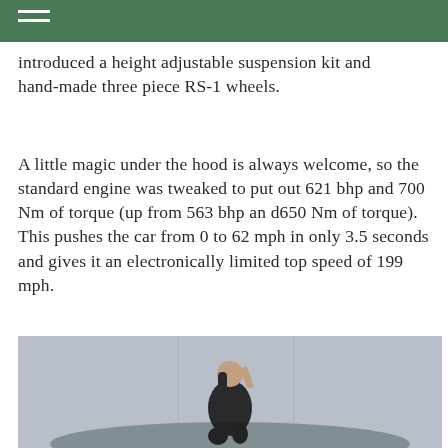introduced a height adjustable suspension kit and hand-made three piece RS-1 wheels.
A little magic under the hood is always welcome, so the standard engine was tweaked to put out 621 bhp and 700 Nm of torque (up from 563 bhp and 650 Nm of torque). This pushes the car from 0 to 62 mph in only 3.5 seconds and gives it an electronically limited top speed of 199 mph.
[Figure (photo): A woman in black clothing posing on the hood of a car, photographed against a light grey background.]